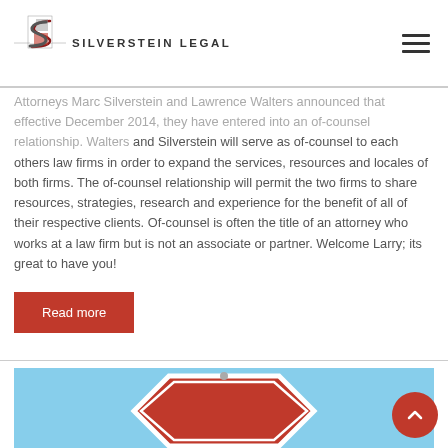Silverstein Legal
Attorneys Marc Silverstein and Lawrence Walters announced that effective December 2014, they have entered into an of-counsel relationship. Walters and Silverstein will serve as of-counsel to each others law firms in order to expand the services, resources and locales of both firms. The of-counsel relationship will permit the two firms to share resources, strategies, research and experience for the benefit of all of their respective clients. Of-counsel is often the title of an attorney who works at a law firm but is not an associate or partner. Welcome Larry; its great to have you!
Read more
[Figure (photo): A red stop sign photographed against a blue sky background]